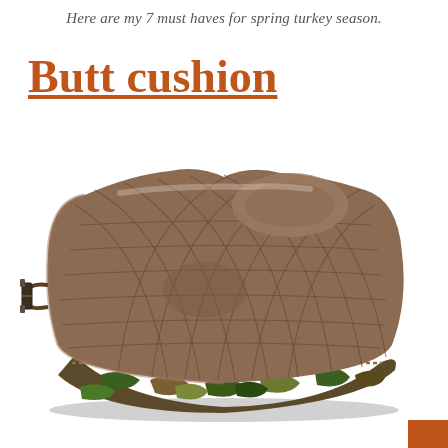Here are my 7 must haves for spring turkey season.
Butt cushion
[Figure (photo): A brown quilted diamond-pattern butt cushion with a camo-patterned bottom edge/side, featuring a back support bump and a strap clip on the left side.]